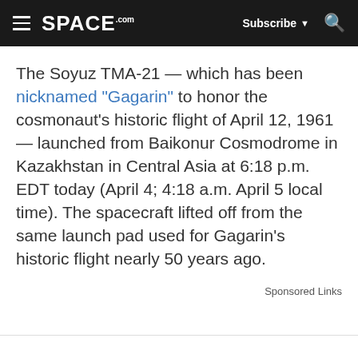SPACE.com | Subscribe | Search
The Soyuz TMA-21 — which has been nicknamed "Gagarin" to honor the cosmonaut's historic flight of April 12, 1961 — launched from Baikonur Cosmodrome in Kazakhstan in Central Asia at 6:18 p.m. EDT today (April 4; 4:18 a.m. April 5 local time). The spacecraft lifted off from the same launch pad used for Gagarin's historic flight nearly 50 years ago.
Sponsored Links